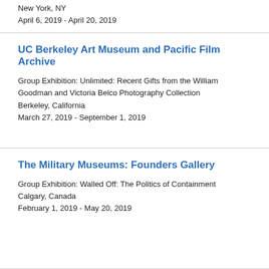New York, NY
April 6, 2019 - April 20, 2019
UC Berkeley Art Museum and Pacific Film Archive
Group Exhibition: Unlimited: Recent Gifts from the William Goodman and Victoria Belco Photography Collection
Berkeley, California
March 27, 2019 - September 1, 2019
The Military Museums: Founders Gallery
Group Exhibition: Walled Off: The Politics of Containment
Calgary, Canada
February 1, 2019 - May 20, 2019